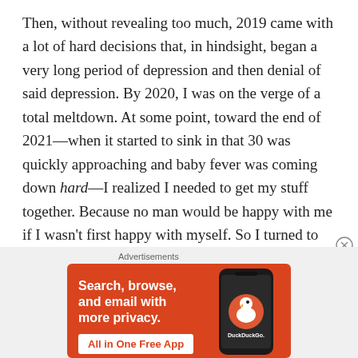Then, without revealing too much, 2019 came with a lot of hard decisions that, in hindsight, began a very long period of depression and then denial of said depression. By 2020, I was on the verge of a total meltdown. At some point, toward the end of 2021—when it started to sink in that 30 was quickly approaching and baby fever was coming down hard—I realized I needed to get my stuff together. Because no man would be happy with me if I wasn't first happy with myself. So I turned to the one thing that's always brought me peace and solace and
[Figure (screenshot): DuckDuckGo advertisement banner with orange background. Left side shows text 'Search, browse, and email with more privacy.' with a white button 'All in One Free App'. Right side shows a smartphone with DuckDuckGo logo and brand name.]